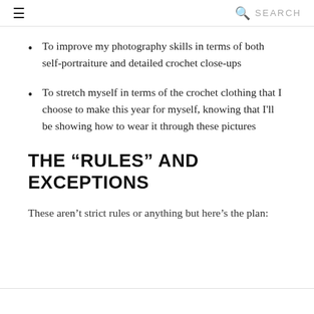≡  🔍 SEARCH
To improve my photography skills in terms of both self-portraiture and detailed crochet close-ups
To stretch myself in terms of the crochet clothing that I choose to make this year for myself, knowing that I'll be showing how to wear it through these pictures
THE “RULES” AND EXCEPTIONS
These aren’t strict rules or anything but here’s the plan: